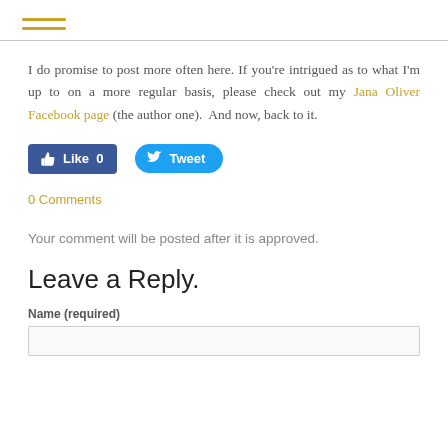hamburger menu icon
I do promise to post more often here. If you're intrigued as to what I'm up to on a more regular basis, please check out my Jana Oliver Facebook page (the author one).  And now, back to it.
[Figure (other): Social media buttons: Facebook Like (0) and Twitter Tweet]
0 Comments
Your comment will be posted after it is approved.
Leave a Reply.
Name (required)